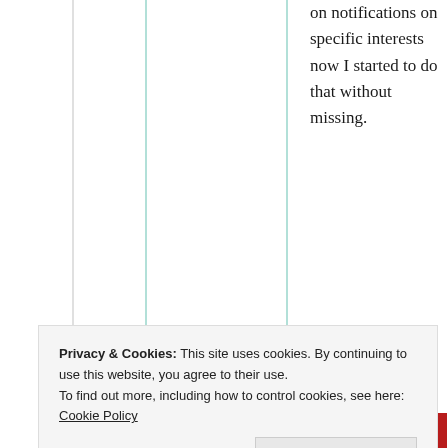on notifications on specific interests now I started to do that without missing.
★ Liked by 1 person
Advertisements
[Figure (other): Longreads advertisement banner with red background, Longreads logo, and text 'The best stories on the web – ours, and']
Privacy & Cookies: This site uses cookies. By continuing to use this website, you agree to their use. To find out more, including how to control cookies, see here: Cookie Policy
Close and accept